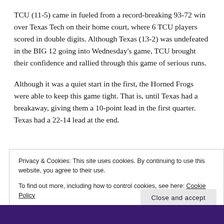TCU (11-5) came in fueled from a record-breaking 93-72 win over Texas Tech on their home court, where 6 TCU players scored in double digits. Although Texas (13-2) was undefeated in the BIG 12 going into Wednesday's game, TCU brought their confidence and rallied through this game of serious runs.
Although it was a quiet start in the first, the Horned Frogs were able to keep this game tight. That is, until Texas had a breakaway, giving them a 10-point lead in the first quarter. Texas had a 22-14 lead at the end.
Privacy & Cookies: This site uses cookies. By continuing to use this website, you agree to their use.
To find out more, including how to control cookies, see here: Cookie Policy
[Figure (photo): Bottom strip showing a dark purple background, likely a basketball game photo partially visible.]